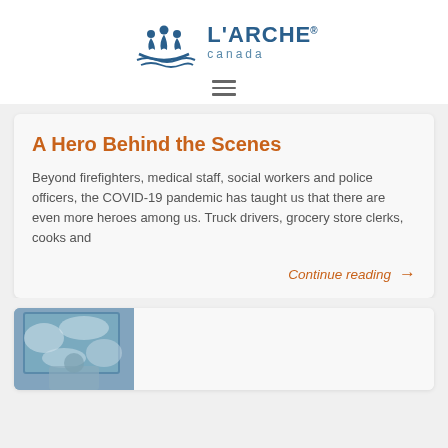[Figure (logo): L'Arche Canada logo with three figures in a boat above water waves, navy blue, with text L'ARCHE and canada]
A Hero Behind the Scenes
Beyond firefighters, medical staff, social workers and police officers, the COVID-19 pandemic has taught us that there are even more heroes among us. Truck drivers, grocery store clerks, cooks and
Continue reading →
[Figure (photo): Partial photo of a person near a window with icy/frosty texture visible]